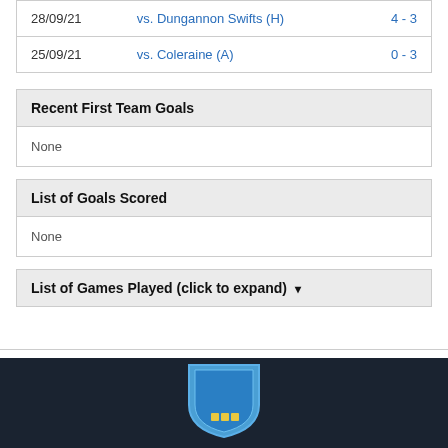| Date | Match | Score |
| --- | --- | --- |
| 28/09/21 | vs. Dungannon Swifts (H) | 4 - 3 |
| 25/09/21 | vs. Coleraine (A) | 0 - 3 |
Recent First Team Goals
None
List of Goals Scored
None
List of Games Played (click to expand) ▾
[Figure (logo): Football club shield/crest logo in blue on dark footer background]